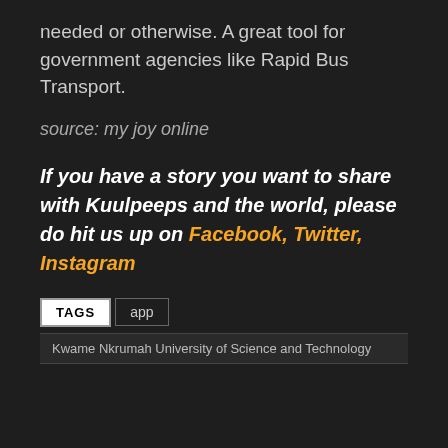needed or otherwise. A great tool for government agencies like Rapid Bus Transport.
source: my joy online
If you have a story you want to share with Kuulpeeps and the world, please do hit us up on Facebook, Twitter, Instagram
TAGS  app
Kwame Nkrumah University of Science and Technology
This website uses cookies to improve your experience. We'll assume you're ok with this, but you can opt-out if you wish.
Cookie settings  ACCEPT